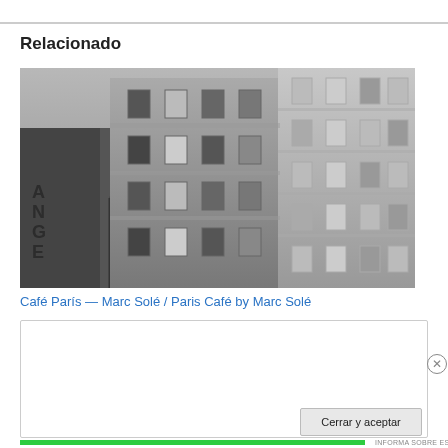Relacionado
[Figure (photo): Black and white photograph of European city building facades with windows, street lamp visible in lower left, shop signage partially visible.]
Café París — Marc Solé / Paris Café by Marc Solé
Privacidad y cookies: este sitio utiliza cookies. Al continuar utilizando esta web, aceptas su uso.
Para obtener más información, incluido cómo controlar las cookies, consulta aquí: Política de cookies
Cerrar y aceptar